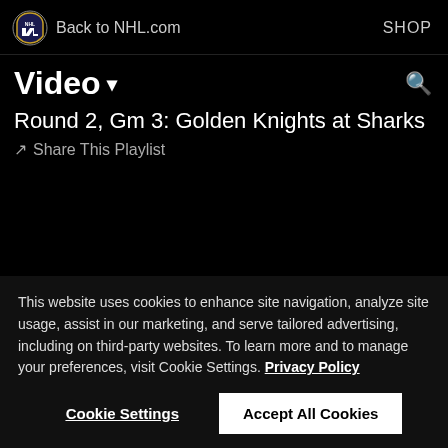Back to NHL.com   SHOP
Video ▾
Round 2, Gm 3: Golden Knights at Sharks
↗ Share This Playlist
This website uses cookies to enhance site navigation, analyze site usage, assist in our marketing, and serve tailored advertising, including on third-party websites. To learn more and to manage your preferences, visit Cookie Settings. Privacy Policy
Cookie Settings   Accept All Cookies